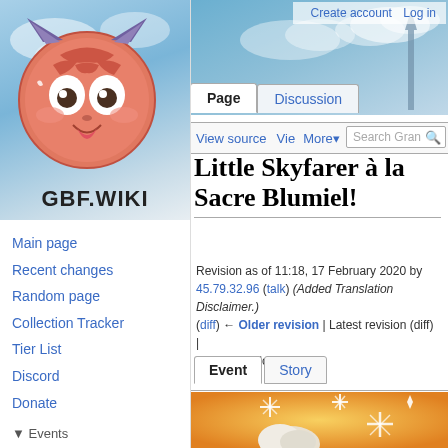Create account  Log in
[Figure (logo): GBF.WIKI logo with cartoon mascot character (pink round face with cat ears) against sky background, with text GBF.WIKI below]
Main page
Recent changes
Random page
Collection Tracker
Tier List
Discord
Donate
▼ Events
Full Metal Man VII: The Last Mission
Side Stories
Event History
Campaign History
Little Skyfarer à la Sacre Blumiel!
Revision as of 11:18, 17 February 2020 by 45.79.32.96 (talk) (Added Translation Disclaimer.) (diff) ← Older revision | Latest revision (diff) | Newer revision → (diff)
[Figure (illustration): Orange/yellow anime-style illustration showing a character with white/silver hair and sparkle/star effects]